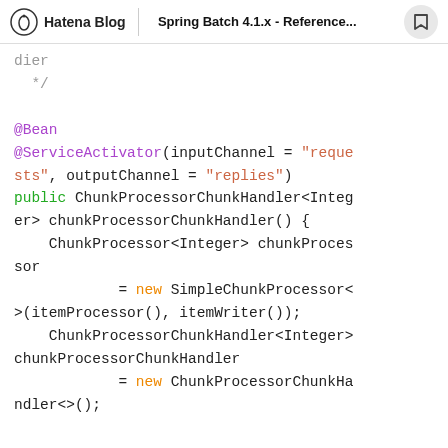Hatena Blog | Spring Batch 4.1.x - Reference...
[Figure (screenshot): Java code snippet showing @Bean and @ServiceActivator annotations with ChunkProcessorChunkHandler configuration in Spring Batch]